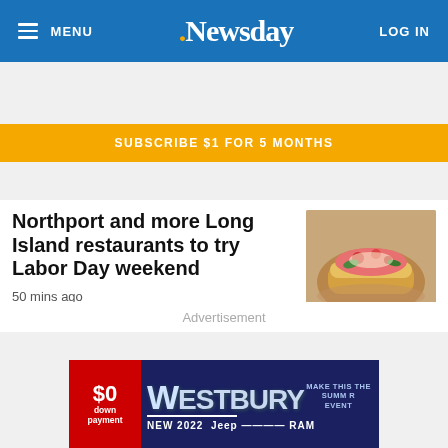MENU | Newsday | LOG IN
SUBSCRIBE $1 FOR 5 MONTHS
Northport and more Long Island restaurants to try Labor Day weekend
50 mins ago
[Figure (photo): Food dish photo showing what appears to be a lobster roll or similar seafood dish in a bowl]
Advertisement
[Figure (infographic): Westbury Jeep RAM dealership advertisement. $0 down payment. NEW 2022 Jeep RAM. Make this the SUMMER EVENT.]